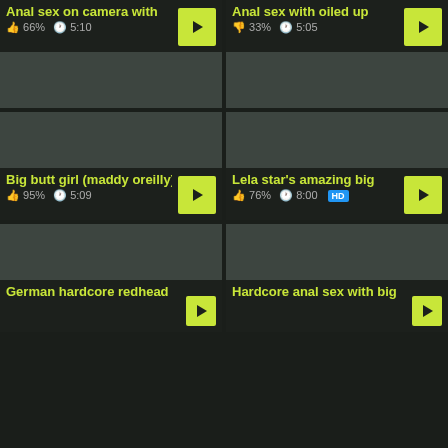[Figure (screenshot): Video thumbnail grid with 6 video cards showing adult content titles, ratings, and durations]
Anal sex on camera with | 66% | 5:10
Anal sex with oiled up | 33% | 5:05
Big butt girl (maddy oreilly) | 95% | 5:09
Lela star's amazing big | 76% | 8:00 HD
German hardcore redhead
Hardcore anal sex with big